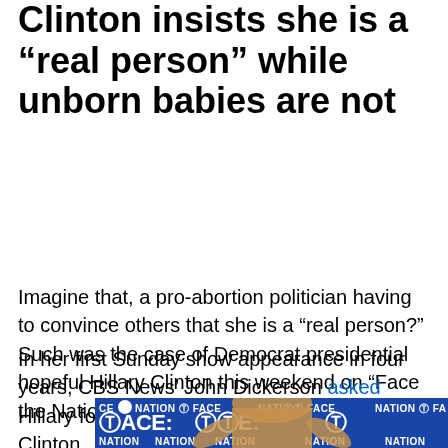Clinton insists she is a “real person” while unborn babies are not
Imagine that, a pro-abortion politician having to convince others that she is a “real person?” Such was the case of Democrat presidential hopeful Hillary Clinton this weekend on “Face the Nation.”
In her first Sunday show appearance in four years, CBS News’ John Dickerson asked Hillary for three words that describe Hillary Clinton.
[Figure (photo): Photo of Hillary Clinton at a CBS Face the Nation event, with the Face the Nation logo visible in the background. She appears to be gesturing with her hands raised.]